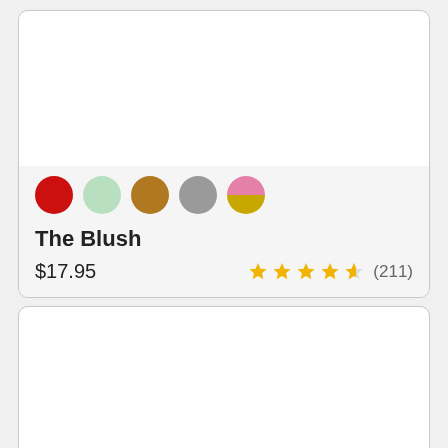[Figure (other): Product card showing color swatches (red, mint, brown, gray, pink/gold), product name 'The Blush', price '$17.95', and star rating 4.5 stars (211 reviews)]
The Blush
$17.95
(211)
[Figure (other): Second product card, mostly blank white area (image area not loaded)]